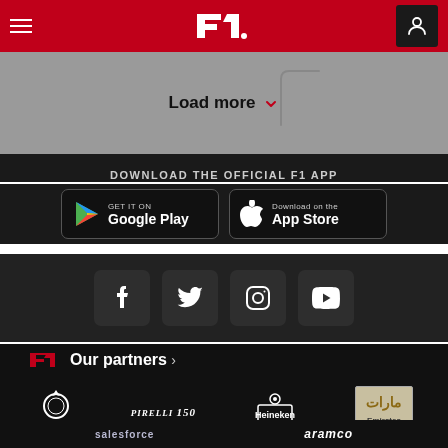F1 Header navigation with hamburger menu, F1 logo, and user icon
Load more
DOWNLOAD THE OFFICIAL F1 APP
GET IT ON Google Play
Download on the App Store
[Figure (other): Social media icons: Facebook, Twitter, Instagram, YouTube]
Our partners >
[Figure (logo): Partner logos: Rolex, Pirelli 150, Heineken 0.0, Emirates, Salesforce, Aramco]